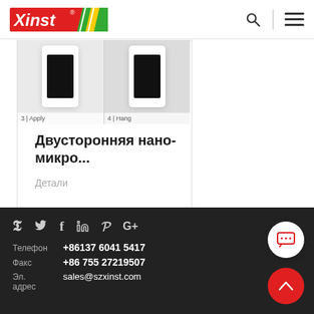Xinst
[Figure (photo): Product images showing step 3 Apply and step 4 Hang of a double-sided nano device]
Двусторонняя нано-микро...
Детали
Телефон +86137 6041 5417 | Факс +86 755 27219507 | Эл. адрес sales@szxinst.com